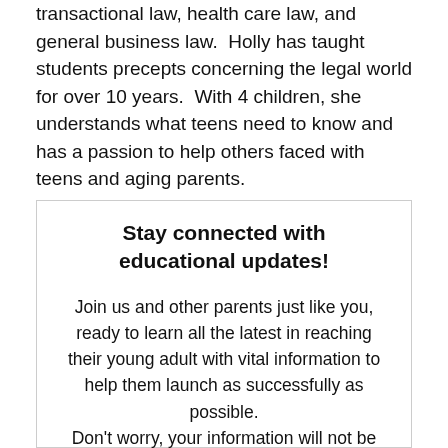transactional law, health care law, and general business law.  Holly has taught students precepts concerning the legal world for over 10 years.  With 4 children, she understands what teens need to know and has a passion to help others faced with teens and aging parents.
Stay connected with educational updates!
Join us and other parents just like you, ready to learn all the latest in reaching their young adult with vital information to help them launch as successfully as possible. Don't worry, your information will not be shared.